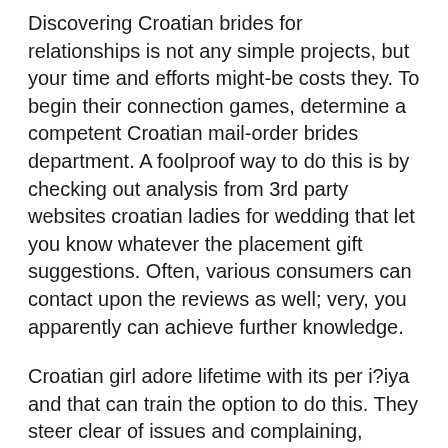Discovering Croatian brides for relationships is not any simple projects, but your time and efforts might-be costs they. To begin their connection games, determine a competent Croatian mail-order brides department. A foolproof way to do this is by checking out analysis from 3rd party websites croatian ladies for wedding that let you know whatever the placement gift suggestions. Often, various consumers can contact upon the reviews as well; very, you apparently can achieve further knowledge.
Croatian girl adore lifetime with its per i?iya and that can train the option to do this. They steer clear of issues and complaining, precisely why to shed this type of of use opportunity for hatred and discontent. [newline]Pretty Croatian women all the time has amusing ideas for specially each situation. Pretty Croatian women can be literally accessible by way of online and they are currently wishing inside information. Croatian brides specially increase men's attraction for a quantity of causes. When individuals offers matrimony to a Croatian lady, he does not present the woman with a wedding ring. Alternatively,